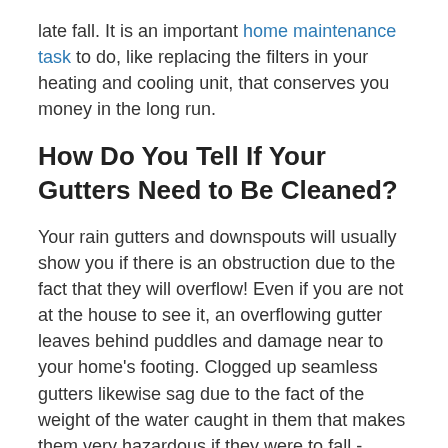late fall. It is an important home maintenance task to do, like replacing the filters in your heating and cooling unit, that conserves you money in the long run.
How Do You Tell If Your Gutters Need to Be Cleaned?
Your rain gutters and downspouts will usually show you if there is an obstruction due to the fact that they will overflow! Even if you are not at the house to see it, an overflowing gutter leaves behind puddles and damage near to your home's footing. Clogged up seamless gutters likewise sag due to the fact of the weight of the water caught in them that makes them very hazardous if they were to fall - which does